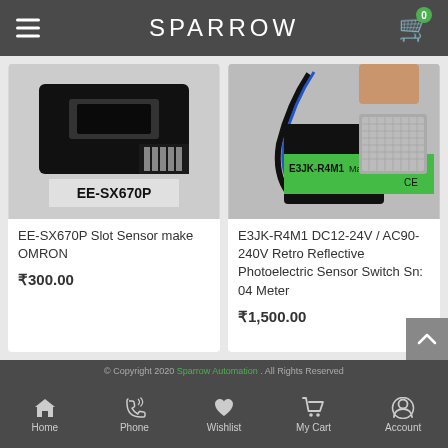SPARROW
[Figure (photo): EE-SX670P slot sensor product photo, black sensor with connector pins, label reads EE-SX670P]
EE-SX670P Slot Sensor make OMRON
₹300.00
[Figure (photo): E3JK-R4M1 retro reflective photoelectric sensor with green label and cable, Make OMRON, CE marked]
E3JK-R4M1 DC12-24V / AC90-240V Retro Reflective Photoelectric Sensor Switch Sn: 04 Meter
₹1,500.00
© Copyright 2020 Sparrow Automation . All Rights Reserved
Home  Phone  Wishlist  My Cart  Account